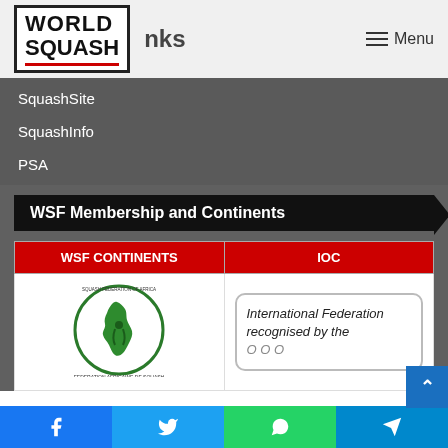[Figure (logo): World Squash Federation logo with red underline, next to partially visible 'links' heading text]
Menu
SquashSite
SquashInfo
PSA
WSF Membership and Continents
| WSF CONTINENTS | IOC |
| --- | --- |
| [Africa Squash Federation logo] | International Federation recognised by the [IOC] |
[Figure (logo): Social share buttons: Facebook, Twitter, WhatsApp, Telegram]